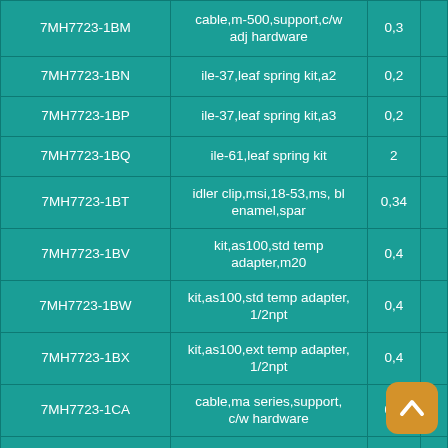| Part Number | Description | Qty |  |
| --- | --- | --- | --- |
| 7MH7723-1BM | cable,m-500,support,c/w adj hardware | 0,3 |  |
| 7MH7723-1BN | ile-37,leaf spring kit,a2 | 0,2 |  |
| 7MH7723-1BP | ile-37,leaf spring kit,a3 | 0,2 |  |
| 7MH7723-1BQ | ile-61,leaf spring kit | 2 |  |
| 7MH7723-1BT | idler clip,msi,18-53,ms, bl enamel,spar | 0,34 |  |
| 7MH7723-1BV | kit,as100,std temp adapter,m20 | 0,4 |  |
| 7MH7723-1BW | kit,as100,std temp adapter, 1/2npt | 0,4 |  |
| 7MH7723-1BX | kit,as100,ext temp adapter, 1/2npt | 0,4 |  |
| 7MH7723-1CA | cable,ma series,support, c/w hardware | 0,3 |  |
| 7MH7723-1CB | ribbon cable,bw500,sf500, compu-m,spare | 0,1 |  |
| 7MH7723-1CC | cable,l-300,support c/w hardware | 0,3 |  |